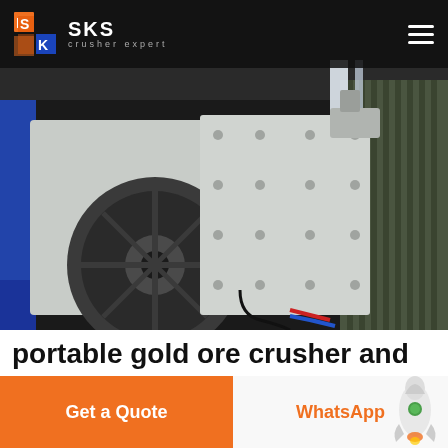[Figure (photo): SKS crusher expert logo and navigation bar on dark background with hamburger menu icon on the right]
[Figure (photo): Large industrial jaw crusher machine, grey/white colored, photographed inside a factory or warehouse with corrugated metal walls]
portable gold ore crusher and
Get a Quote
WhatsApp